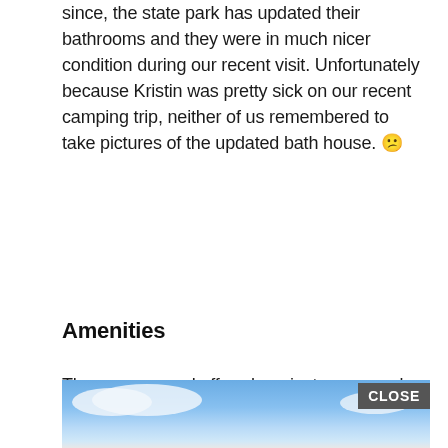since, the state park has updated their bathrooms and they were in much nicer condition during our recent visit. Unfortunately because Kristin was pretty sick on our recent camping trip, neither of us remembered to take pictures of the updated bath house. 🙁
Amenities
The campground offered a private campers' beach and a campers' boat launch area with access to the unlimited horsepower lake. Some campsites along the water also had the ability for boats to pull directly up to the sites. Other features at the campground included volleyball and basketball courts, horseshoe pits, playground, nature center, and a primitive equestrian camping area.
[Figure (photo): Photo of a blue sky with white clouds, partially visible at the bottom of the page. A 'CLOSE' button appears in the upper right of the image area.]